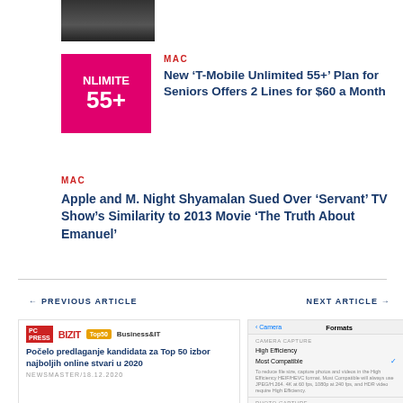[Figure (photo): Partial photo of a person, dark background, cropped at top]
[Figure (photo): T-Mobile Unlimited 55+ plan advertisement image with pink/magenta background showing text NLIMITE and 55+]
MAC
New ‘T-Mobile Unlimited 55+’ Plan for Seniors Offers 2 Lines for $60 a Month
MAC
Apple and M. Night Shyamalan Sued Over ‘Servant’ TV Show’s Similarity to 2013 Movie ‘The Truth About Emanuel’
← PREVIOUS ARTICLE
NEXT ARTICLE →
[Figure (logo): PC Press, BIZIT, Top 50, Business & IT logos]
Počelo predlaganje kandidata za Top 50 izbor najboljih online stvari u 2020
NEWSMASTER/18.12.2020
[Figure (screenshot): iPhone screenshot showing Camera > Formats settings with High Efficiency and Most Compatible options]